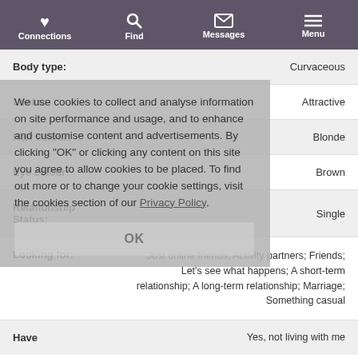Connections | Find | Messages | Menu
Body type: Curvaceous
Looks: Attractive
Hair colour: Blonde
Eye colour: Brown
Relationship Status: Single
Looking for: Just online friends; Activity partners; Friends; Let's see what happens; A short-term relationship; A long-term relationship; Marriage; Something casual
Have Yes, not living with me
We use cookies to collect and analyse information on site performance and usage, and to enhance and customise content and advertisements. By clicking "OK" or clicking any content on this site you agree to allow cookies to be placed. To find out more or to change your cookie settings, visit the cookies section of our Privacy Policy.
OK